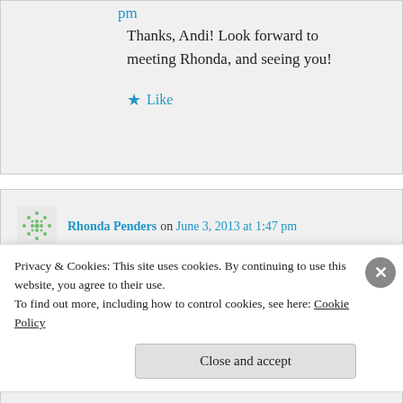pm
Thanks, Andi! Look forward to meeting Rhonda, and seeing you!
Like
Rhonda Penders on June 3, 2013 at 1:47 pm
Thanks Juli! So glad to have you in the garden.
Privacy & Cookies: This site uses cookies. By continuing to use this website, you agree to their use.
To find out more, including how to control cookies, see here: Cookie Policy
Close and accept